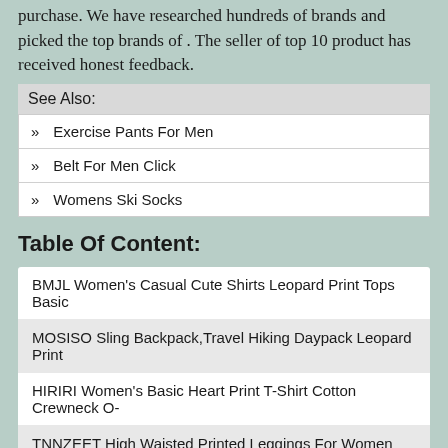purchase. We have researched hundreds of brands and picked the top brands of . The seller of top 10 product has received honest feedback.
See Also:
Exercise Pants For Men
Belt For Men Click
Womens Ski Socks
Table Of Content:
BMJL Women's Casual Cute Shirts Leopard Print Tops Basic
MOSISO Sling Backpack,Travel Hiking Daypack Leopard Print
HIRIRI Women's Basic Heart Print T-Shirt Cotton Crewneck O-
TNNZEET High Waisted Printed Leggings For Women Buttery Soft
STYLEWORD Women's Leopard Pattern Print Yoga Pants High
Women Of The Bible For Women Of Color Large Print
KJV Thinline Bible Large Print, the soft Cover Bookthe